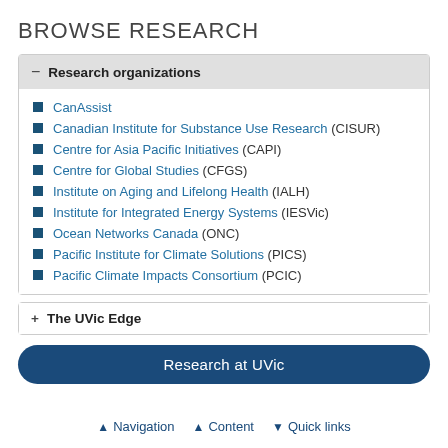BROWSE RESEARCH
− Research organizations
CanAssist
Canadian Institute for Substance Use Research (CISUR)
Centre for Asia Pacific Initiatives (CAPI)
Centre for Global Studies (CFGS)
Institute on Aging and Lifelong Health (IALH)
Institute for Integrated Energy Systems (IESVic)
Ocean Networks Canada (ONC)
Pacific Institute for Climate Solutions (PICS)
Pacific Climate Impacts Consortium (PCIC)
+ The UVic Edge
Research at UVic
▲ Navigation  ▲ Content  ▼ Quick links